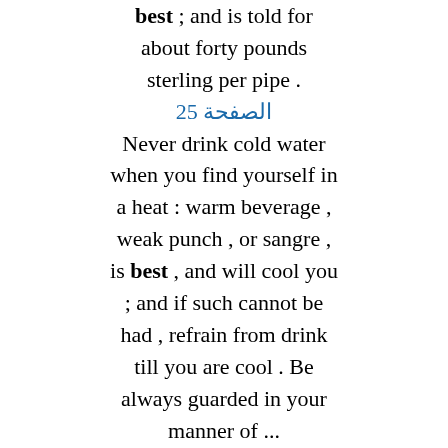best ; and is told for about forty pounds sterling per pipe .
الصفحة 25
Never drink cold water when you find yourself in a heat : warm beverage , weak punch , or sangre , is best , and will cool you ; and if such cannot be had , refrain from drink till you are cool . Be always guarded in your manner of ...
الصفحة 27
Castor oil , which grows upon a shrub in the island , is the best medicine in this case ; it sometimes effectually cures . There is a hot bath near Spanish Town which gives immediate ease ; indeed , any hot